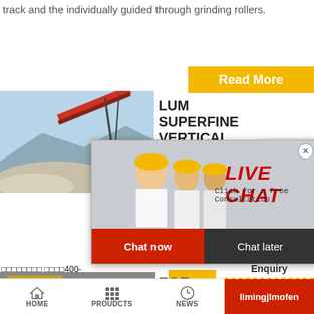track and the individually guided through grinding rollers.
[Figure (photo): Industrial conveyor belt and material stockpile/quarry scene]
LUM SUPERFINE VERTICAL ROLLER GRI...
[Figure (screenshot): Live chat popup overlay with workers photo, LIVE CHAT heading, Click for a Free Consultation, Chat now and Chat later buttons]
[Figure (photo): Customer service agent with headset smiling]
24Hrs Online
□□□□□□□□ □□□□400-67986666 ...
[Figure (photo): Yellow industrial jaw crusher machinery]
FOR VERTICAL RO...
Need questions & suggestion?
Chat Now
Read More
Enquiry
limingjlmofen
HOME  PROUDCTS  NEWS